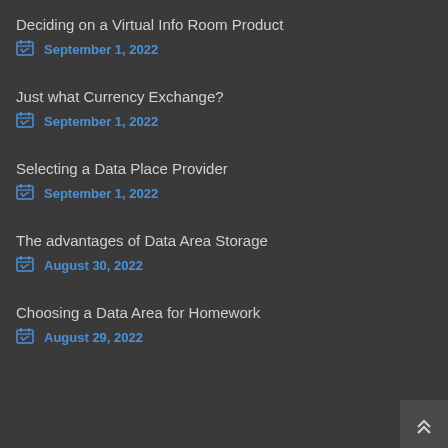Deciding on a Virtual Info Room Product
September 1, 2022
Just what Currency Exchange?
September 1, 2022
Selecting a Data Place Provider
September 1, 2022
The advantages of Data Area Storage
August 30, 2022
Choosing a Data Area for Homework
August 29, 2022